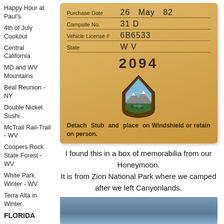Happy Hour at Paul's
4th of July Cookout
Central California
MD and WV Mountains
Beal Reunion - NY
Double Nickel Sushi
McTrail Rail-Trail - WV
Coopers Rock State Forest - WV
White Park Winter - WV
Terra Alta in Winter
FLORIDA
Oklawaha Visitors Center Trail
[Figure (photo): National Park Service campsite receipt/stub from Zion National Park. Tan/gold colored card. Handwritten fields: Purchase Date: 26, May, 82; Campsite No.: 31 D; Vehicle License #: 6B6533; State: WV. Printed number: 2094. NPS arrowhead logo. Text: Detach Stub and place on Windshield or retain on person.]
I found this in a box of memorabilia from our Honeymoon. It is from Zion National Park where we camped after we left Canyonlands.
[Figure (photo): Partial landscape/sky photo at bottom right, blue-grey tones.]